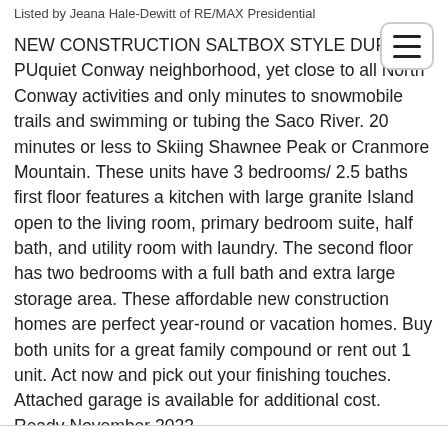Listed by Jeana Hale-Dewitt of RE/MAX Presidential
NEW CONSTRUCTION SALTBOX STYLE DUPLEX PU... quiet Conway neighborhood, yet close to all North Conway activities and only minutes to snowmobile trails and swimming or tubing the Saco River. 20 minutes or less to Skiing Shawnee Peak or Cranmore Mountain. These units have 3 bedrooms/ 2.5 baths first floor features a kitchen with large granite Island open to the living room, primary bedroom suite, half bath, and utility room with laundry. The second floor has two bedrooms with a full bath and extra large storage area. These affordable new construction homes are perfect year-round or vacation homes. Buy both units for a great family compound or rent out 1 unit. Act now and pick out your finishing touches. Attached garage is available for additional cost. Ready November 2022
Ask A Question